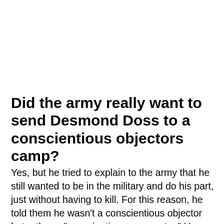Did the army really want to send Desmond Doss to a conscientious objectors camp?
Yes, but he tried to explain to the army that he still wanted to be in the military and do his part, just without having to kill. For this reason, he told them he wasn't a conscientious objector but rather a "conscientious cooperator." He believed that the war was justified but that killing was nevertheless wrong. Like in the Hacksaw Ridge movie, when he told the army he wanted to be a medic, they replied by telling him